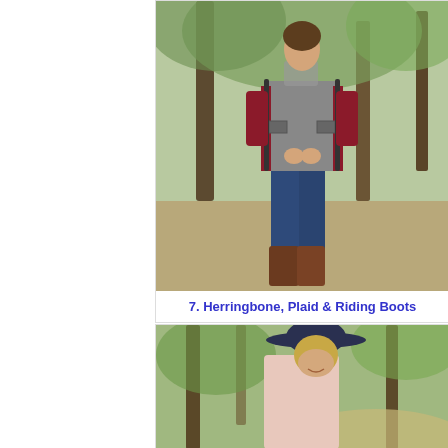[Figure (photo): Woman standing outdoors in a wooded area wearing a herringbone quilted vest over a burgundy plaid shirt, jeans, and tall brown riding boots. She has a scarf and statement necklace. Background shows trees and fallen leaves.]
7. Herringbone, Plaid & Riding Boots
[Figure (photo): Woman outdoors on a wooded path wearing a wide-brim navy floppy hat, sunglasses, and a light pink long-sleeve top. She is smiling and the background shows trees with dappled light.]